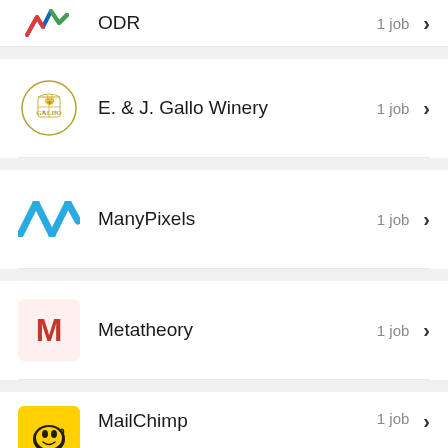ODR — 1 job
E. & J. Gallo Winery — 1 job
ManyPixels — 1 job
Metatheory — 1 job
MailChimp — 1 job